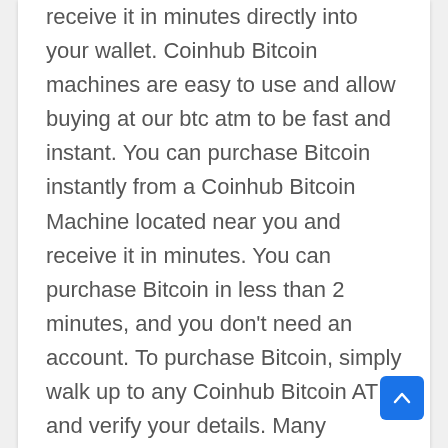receive it in minutes directly into your wallet. Coinhub Bitcoin machines are easy to use and allow buying at our btc atm to be fast and instant. You can purchase Bitcoin instantly from a Coinhub Bitcoin Machine located near you and receive it in minutes. You can purchase Bitcoin in less than 2 minutes, and you don't need an account. To purchase Bitcoin, simply walk up to any Coinhub Bitcoin ATM and verify your details. Many Coinhub Bitcoin ATMs allow you to buy and sell crypto for cash. You can buy Bitcoin using one our Bitcoin ATMs. First, locate the nearest Bitcoin ATM in your area by visiting our Coinhub Bitcoin ATM Locator. Enter your phone number and walk up to the machine. You will then verify your phone with a code and scan your bitcoin wallet. Enter bills one bill at a time for the amount you would like to purchase and confirm the bitcoin atm prior to purchase. Bitcoin is then instantly sent to your wallet. The daily buying limit is $25,000.